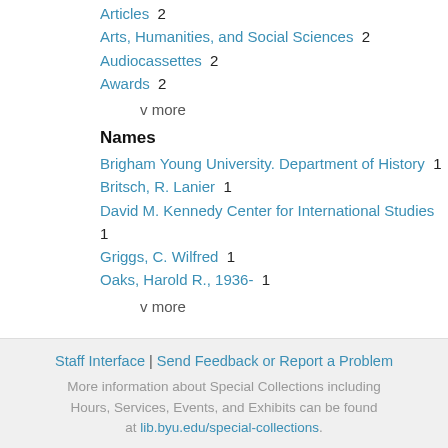Articles 2
Arts, Humanities, and Social Sciences 2
Audiocassettes 2
Awards 2
v more
Names
Brigham Young University. Department of History 1
Britsch, R. Lanier 1
David M. Kennedy Center for International Studies 1
Griggs, C. Wilfred 1
Oaks, Harold R., 1936- 1
v more
Staff Interface | Send Feedback or Report a Problem
More information about Special Collections including Hours, Services, Events, and Exhibits can be found at lib.byu.edu/special-collections.